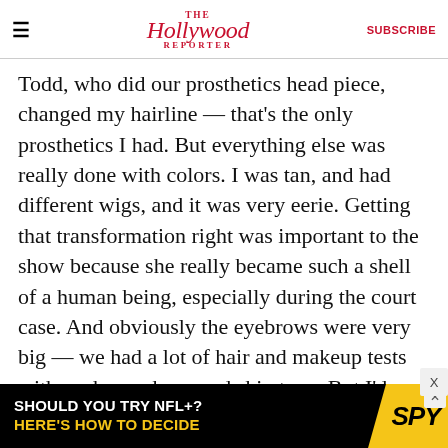The Hollywood Reporter | SUBSCRIBE
Todd, who did our prosthetics head piece, changed my hairline — that's the only prosthetics I had. But everything else was really done with colors. I was tan, and had different wigs, and it was very eerie. Getting that transformation right was important to the show because she really became such a shell of a human being, especially during the court case. And obviously the eyebrows were very big — we had a lot of hair and makeup tests with eyebrow shape and skin tone. But I'd never done that kind of thing. And I really want to do that more.
One of many things the pandemic derailed
[Figure (screenshot): Advertisement banner: black background with text 'SHOULD YOU TRY NFL+? HERE'S HOW TO DECIDE' and SPY logo on yellow diagonal.]